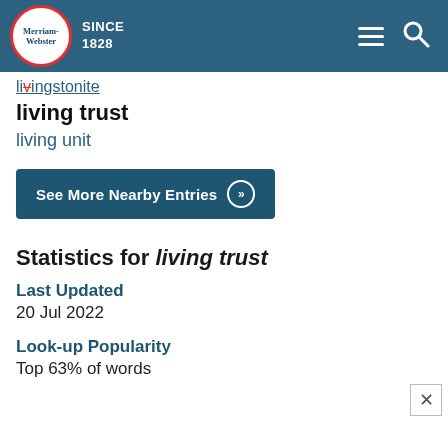[Figure (logo): Merriam-Webster logo with red circle, blue header navigation bar with hamburger and search icons]
livingstonite
living trust
living unit
See More Nearby Entries »
Statistics for living trust
Last Updated
20 Jul 2022
Look-up Popularity
Top 63% of words